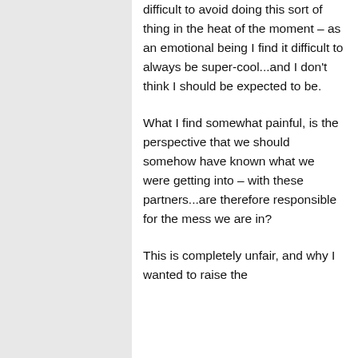difficult to avoid doing this sort of thing in the heat of the moment – as an emotional being I find it difficult to always be super-cool...and I don't think I should be expected to be.
What I find somewhat painful, is the perspective that we should somehow have known what we were getting into – with these partners...are therefore responsible for the mess we are in?
This is completely unfair, and why I wanted to raise the